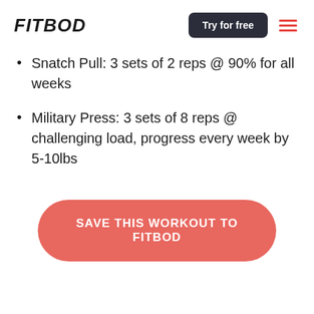FITBOD | Try for free
Snatch Pull: 3 sets of 2 reps @ 90% for all weeks
Military Press: 3 sets of 8 reps @ challenging load, progress every week by 5-10lbs
SAVE THIS WORKOUT TO FITBOD